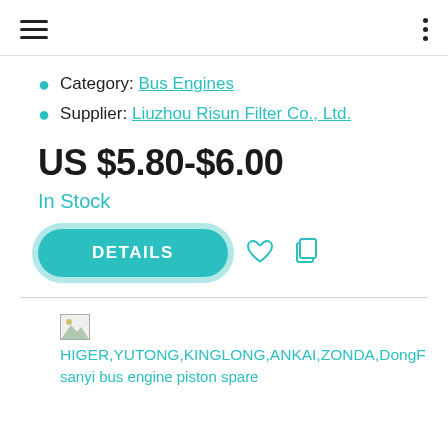Navigation header with hamburger menu and options dots
Category: Bus Engines
Supplier: Liuzhou Risun Filter Co., Ltd.
US $5.80-$6.00
In Stock
DETAILS
[Figure (other): Broken image placeholder thumbnail for product]
HIGER,YUTONG,KINGLONG,ANKAI,ZONDA,DongF
sanyi bus engine piston spare